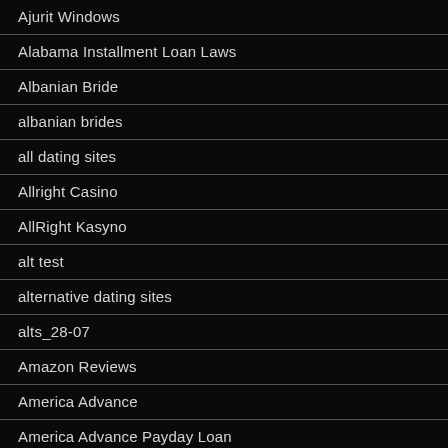Ajurit Windows
Alabama Installment Loan Laws
Albanian Bride
albanian brides
all dating sites
Allright Casino
AllRight Kasyno
alt test
alternative dating sites
alts_28-07
Amazon Reviews
America Advance
America Advance Payday Loan